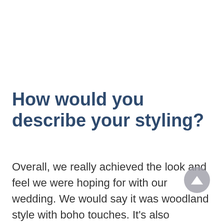How would you describe your styling?
Overall, we really achieved the look and feel we were hoping for with our wedding. We would say it was woodland style with boho touches. It's also important to mention that it had such a homely feel. The tipis allowed for that. We had made all of the decorations ourselves and wanted to feel proud of what we had achieved on the day. Seeing the decorations hang in the tipis on the